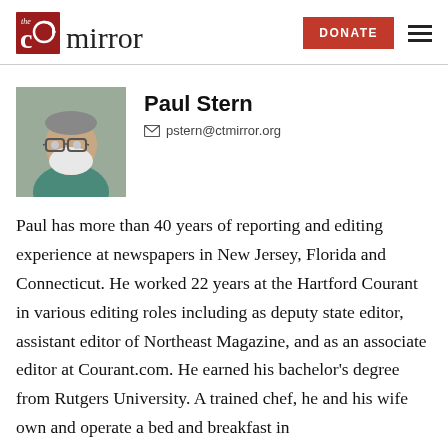CT Mirror | DONATE
[Figure (photo): Headshot of Paul Stern, a middle-aged man with glasses and a white beard, wearing a green shirt, against a neutral background.]
Paul Stern
pstern@ctmirror.org
Paul has more than 40 years of reporting and editing experience at newspapers in New Jersey, Florida and Connecticut. He worked 22 years at the Hartford Courant in various editing roles including as deputy state editor, assistant editor of Northeast Magazine, and as an associate editor at Courant.com. He earned his bachelor's degree from Rutgers University. A trained chef, he and his wife own and operate a bed and breakfast in